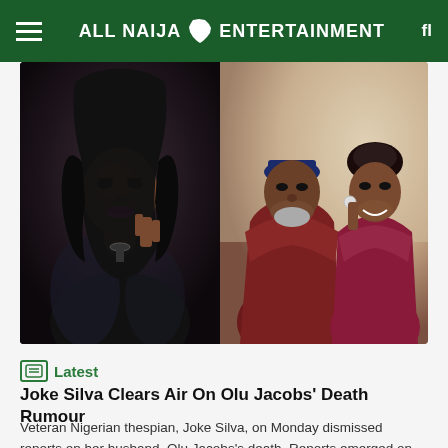ALL NAIJA ENTERTAINMENT
[Figure (photo): Two photos side by side: left shows a Nigerian female actress (Joke Silva) in black outfit with long hair and pink lipstick; right shows an older man in traditional Nigerian attire with a woman in a red lace dress smiling at each other (Olu Jacobs and Joke Silva).]
Latest
Joke Silva Clears Air On Olu Jacobs' Death Rumour
Veteran Nigerian thespian, Joke Silva, on Monday dismissed reports on her husband, Olu Jacobs's death. Reports emerged on social media on Monday that the movie star who has been battling Dementia had passed away. However, in a statement on her Instagram page, Silva threatened legal actions against those spreading misinformation...